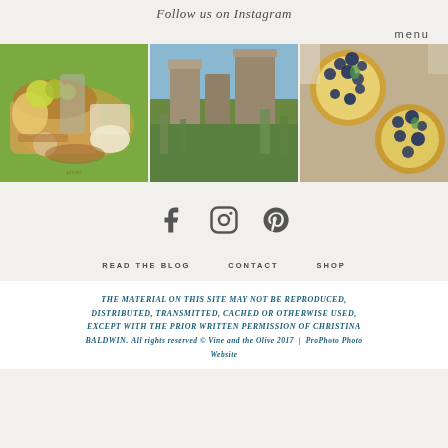Follow us on Instagram
menu
[Figure (photo): Picnic basket with food, wine, and grapes on grass]
[Figure (photo): Ancient stone castle ruins with green trees and blue sky]
[Figure (photo): Blueberry tarts or desserts with cream, top-down view]
[Figure (illustration): Social media icons: Facebook, Instagram, Pinterest]
READ THE BLOG
CONTACT
SHOP
THE MATERIAL ON THIS SITE MAY NOT BE REPRODUCED, DISTRIBUTED, TRANSMITTED, CACHED OR OTHERWISE USED, EXCEPT WITH THE PRIOR WRITTEN PERMISSION OF CHRISTINA BALDWIN. All rights reserved © Vine and the Olive 2017 | ProPhoto Photo Website